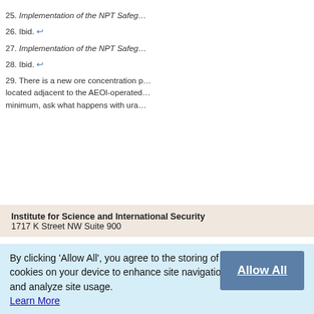25. Implementation of the NPT Safeg...
26. Ibid. ↩
27. Implementation of the NPT Safeg...
28. Ibid. ↩
29. There is a new ore concentration p... located adjacent to the AEOI-operated... minimum, ask what happens with ura...
Institute for Science and International Security
1717 K Street NW Suite 900
By clicking 'Allow All', you agree to the storing of cookies on your device to enhance site navigation and analyze site usage.
Learn More